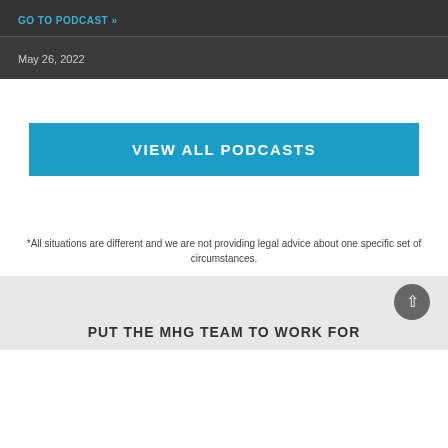GO TO PODCAST »
May 26, 2022
VIEW ALL PODCASTS
*All situations are different and we are not providing legal advice about one specific set of circumstances.
PUT THE MHG TEAM TO WORK FOR